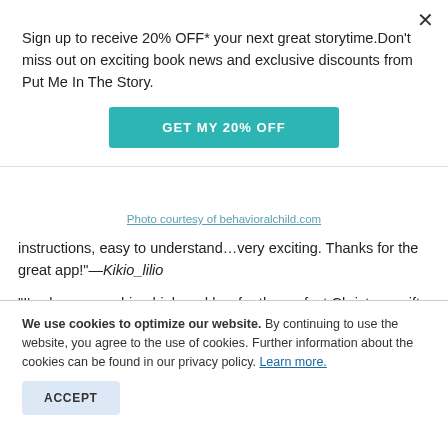Sign up to receive 20% OFF* your next great storytime. Don't miss out on exciting book news and exclusive discounts from Put Me In The Story.
[Figure (other): GET MY 20% OFF teal call-to-action button]
Photo courtesy of behavioralchild.com
instructions, easy to understand…very exciting. Thanks for the great app!"—Kikio_lilio
"I've been searching high and low for the perfect Christmas gift for my nieces and nephews this year and luckily I read the New York Times. I downloaded the app and made a book. Super cute graphics, impressive new technology that both kids and parents
We use cookies to optimize our website. By continuing to use the website, you agree to the use of cookies. Further information about the cookies can be found in our privacy policy. Learn more.
[Figure (other): ACCEPT button (light blue)]